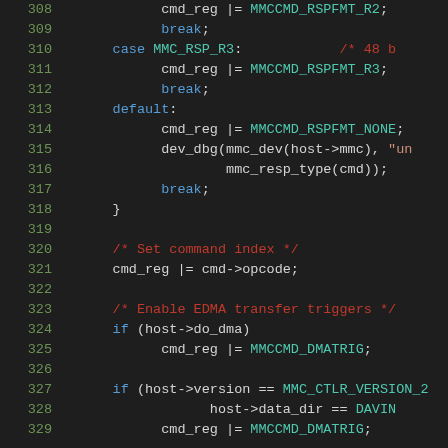[Figure (screenshot): Source code snippet showing C code lines 308-329, with syntax highlighting. Dark background IDE view showing MMC/SD card driver code handling command response formats and EDMA transfer triggers.]